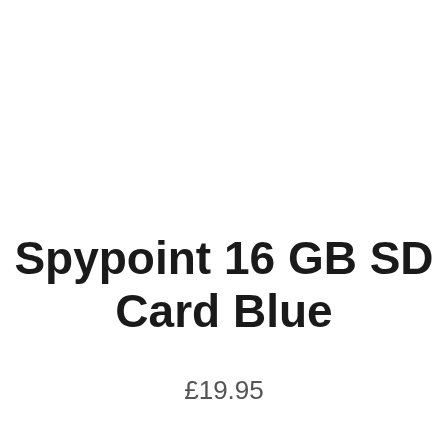Spypoint 16 GB SD Card Blue
£19.95